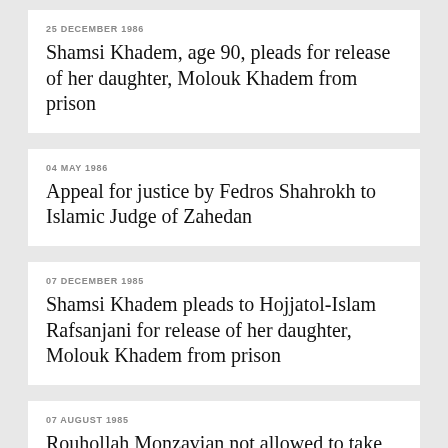25 DECEMBER 1986
Shamsi Khadem, age 90, pleads for release of her daughter, Molouk Khadem from prison
04 MAY 1986
Appeal for justice by Fedros Shahrokh to Islamic Judge of Zahedan
07 DECEMBER 1985
Shamsi Khadem pleads to Hojjatol-Islam Rafsanjani for release of her daughter, Molouk Khadem from prison
07 AUGUST 1985
Rouhollah Monzavian not allowed to take delivery of his car